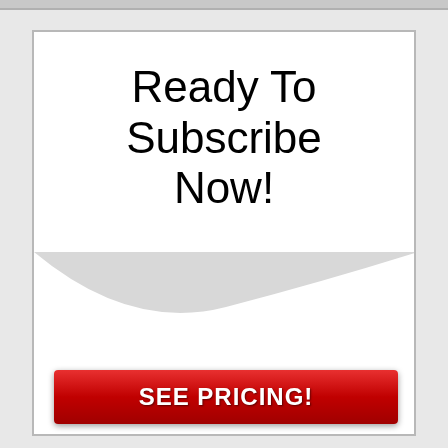Ready To Subscribe Now!
SEE PRICING!